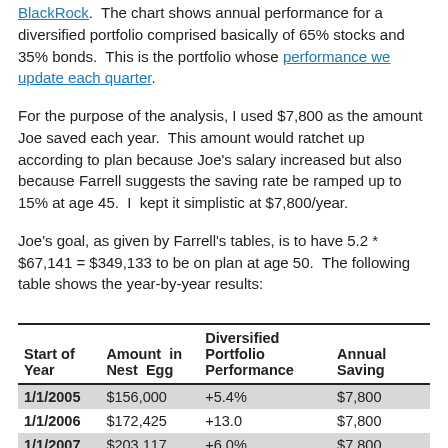BlackRock.  The chart shows annual performance for a diversified portfolio comprised basically of 65% stocks and 35% bonds.  This is the portfolio whose performance we update each quarter.
For the purpose of the analysis, I used $7,800 as the amount Joe saved each year.  This amount would ratchet up according to plan because Joe's salary increased but also because Farrell suggests the saving rate be ramped up to 15% at age 45.  I  kept it simplistic at $7,800/year.
Joe's goal, as given by Farrell's tables, is to have 5.2 * $67,141 = $349,133 to be on plan at age 50.  The following table shows the year-by-year results:
| Start of Year | Amount in Nest Egg | Diversified Portfolio Performance | Annual Saving |
| --- | --- | --- | --- |
| 1/1/2005 | $156,000 | +5.4% | $7,800 |
| 1/1/2006 | $172,425 | +13.0 | $7,800 |
| 1/1/2007 | $203,117 | +6.0% | $7,800 |